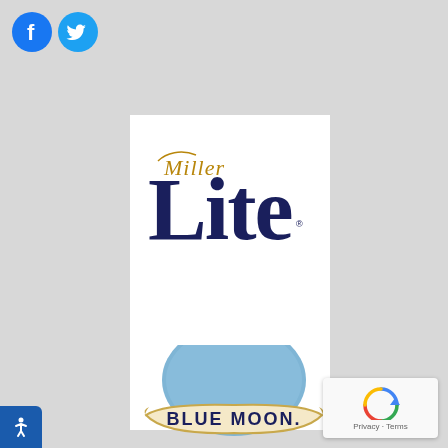[Figure (logo): Facebook and Twitter social media icons, circular blue buttons with white F and bird logos]
[Figure (logo): Miller Lite beer brand logo — 'Miller' in gold script above 'Lite' in large dark navy serif font, on white card background]
[Figure (logo): Blue Moon beer brand logo — circular blue moon graphic with 'BLUE MOON.' text on cream-colored banner, partially visible at bottom of white card]
[Figure (logo): Google reCAPTCHA badge with recycle/refresh arrow icon and 'Privacy · Terms' text, bottom right corner]
[Figure (other): Accessibility icon button — white stick figure on blue background, bottom left corner]